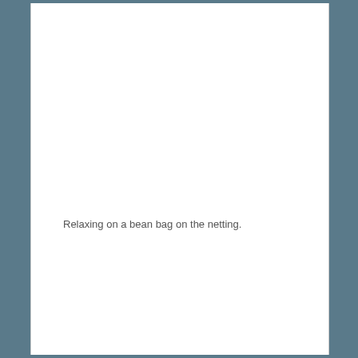Relaxing on a bean bag on the netting.